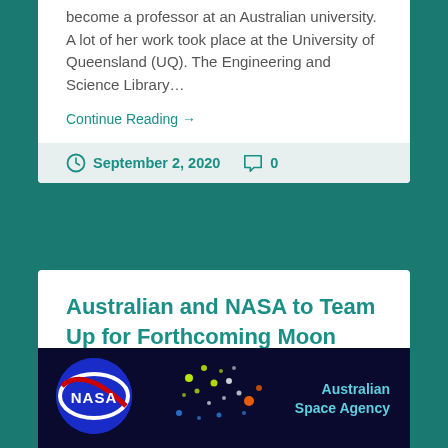become a professor at an Australian university. A lot of her work took place at the University of Queensland (UQ). The Engineering and Science Library…
Continue Reading →
September 2, 2020  0
Australian and NASA to Team Up for Forthcoming Moon Missions
[Figure (photo): NASA logo on the left side and Australian Space Agency logo/text on the right side against a dark navy background with colorful dot patterns in the middle]